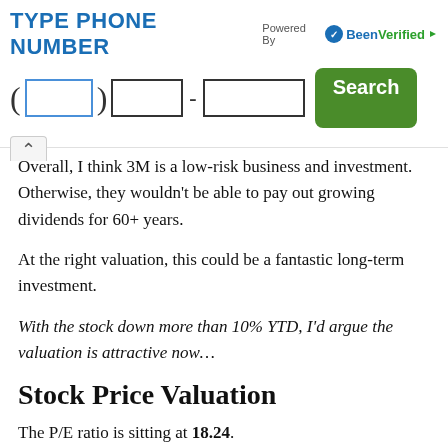[Figure (other): Phone number lookup ad banner with 'TYPE PHONE NUMBER' title, BeenVerified logo, input boxes for area code, prefix and line number, and a green Search button]
Overall, I think 3M is a low-risk business and investment. Otherwise, they wouldn't be able to pay out growing dividends for 60+ years.
At the right valuation, this could be a fantastic long-term investment.
With the stock down more than 10% YTD, I'd argue the valuation is attractive now…
Stock Price Valuation
The P/E ratio is sitting at 18.24.